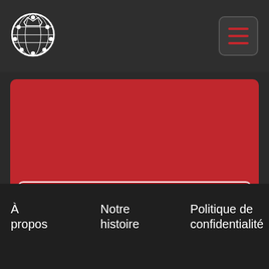[Figure (logo): Circular union/organization logo with globe and crown design in white on dark background]
[Figure (other): Hamburger menu button with three red horizontal lines, rounded rectangular border]
[Figure (other): Large red banner/card section]
Se syndiquer ✊
À propos
Notre histoire
Politique de confidentialité